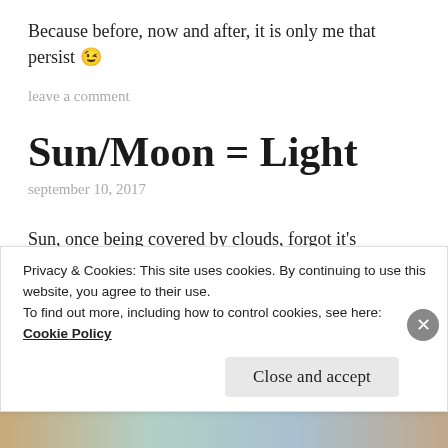Because before, now and after, it is only me that persist 😉
leave a comment
Sun/Moon = Light
september 10, 2017
Sun, once being covered by clouds, forgot it's light, caught in rain and went to moon for
Privacy & Cookies: This site uses cookies. By continuing to use this website, you agree to their use.
To find out more, including how to control cookies, see here: Cookie Policy
Close and accept